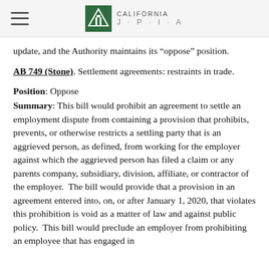California JPIA
update, and the Authority maintains its “oppose” position.
AB 749 (Stone). Settlement agreements: restraints in trade.
Position: Oppose
Summary: This bill would prohibit an agreement to settle an employment dispute from containing a provision that prohibits, prevents, or otherwise restricts a settling party that is an aggrieved person, as defined, from working for the employer against which the aggrieved person has filed a claim or any parents company, subsidiary, division, affiliate, or contractor of the employer.  The bill would provide that a provision in an agreement entered into, on, or after January 1, 2020, that violates this prohibition is void as a matter of law and against public policy.  This bill would preclude an employer from prohibiting an employee that has engaged in